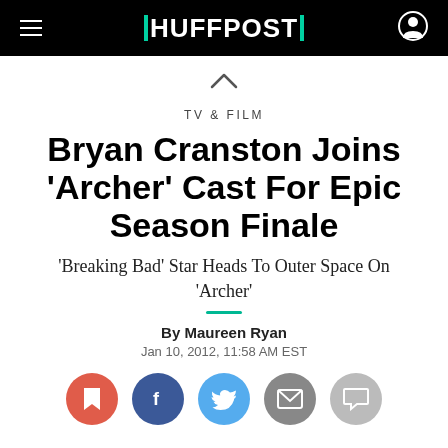HUFFPOST
TV & FILM
Bryan Cranston Joins 'Archer' Cast For Epic Season Finale
'Breaking Bad' Star Heads To Outer Space On 'Archer'
By Maureen Ryan
Jan 10, 2012, 11:58 AM EST